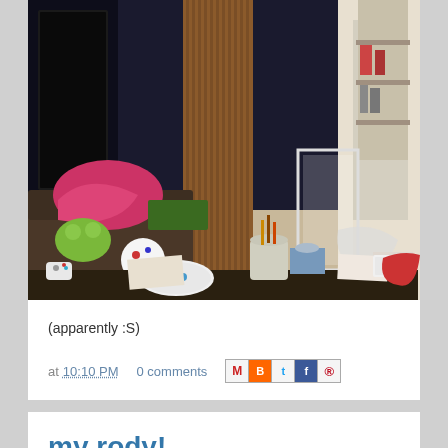[Figure (photo): A cluttered living room with a couch, coffee table covered with miscellaneous items including papers, a white plate, game controller, tissue box, cups, bags, and a wooden room divider in the background.]
(apparently :S)
at 10:10 PM   0 comments
my rody!